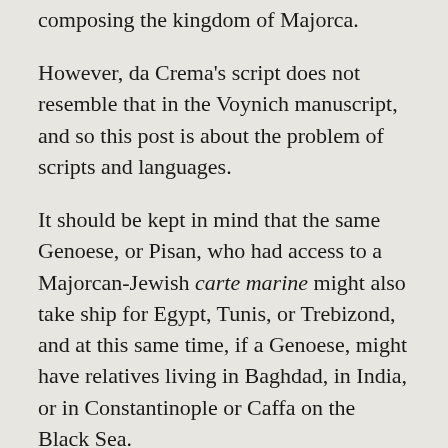composing the kingdom of Majorca.
However, da Crema's script does not resemble that in the Voynich manuscript, and so this post is about the problem of scripts and languages.
It should be kept in mind that the same Genoese, or Pisan, who had access to a Majorcan-Jewish carte marine might also take ship for Egypt, Tunis, or Trebizond, and at this same time, if a Genoese, might have relatives living in Baghdad, in India, or in Constantinople or Caffa on the Black Sea.
It is not a small matter that, as late as the seventeenth century and over a period of